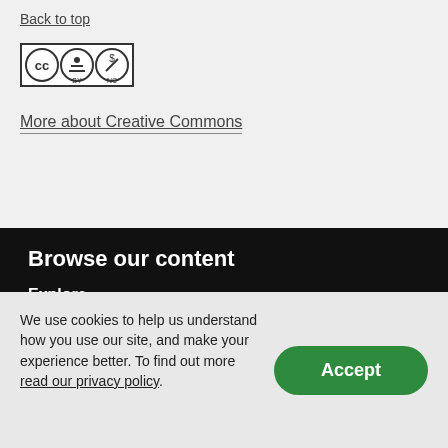Back to top
[Figure (logo): Creative Commons CC BY NC license badge with three icons: CC circle, person/attribution icon, and dollar sign with slash (non-commercial)]
More about Creative Commons
Browse our content
Explore
We use cookies to help us understand how you use our site, and make your experience better. To find out more read our privacy policy.